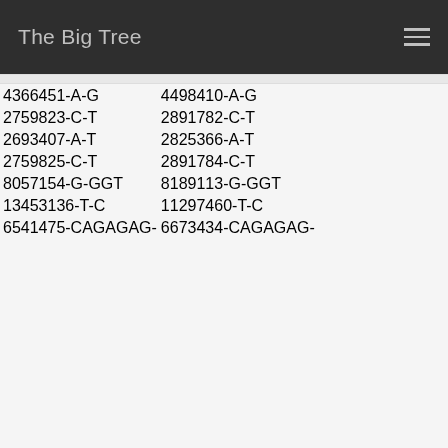The Big Tree
| 4366451-A-G | 4498410-A-G |
| 2759823-C-T | 2891782-C-T |
| 2693407-A-T | 2825366-A-T |
| 2759825-C-T | 2891784-C-T |
| 8057154-G-GGT | 8189113-G-GGT |
| 13453136-T-C | 11297460-T-C |
| 6541475-CAGAGAG- | 6673434-CAGAGAG- |